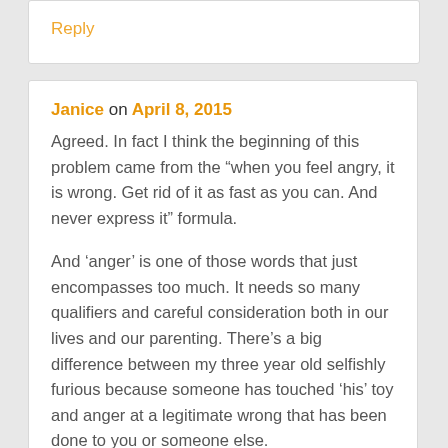Reply
Janice on April 8, 2015
Agreed. In fact I think the beginning of this problem came from the “when you feel angry, it is wrong. Get rid of it as fast as you can. And never express it” formula.

And ‘anger’ is one of those words that just encompasses too much. It needs so many qualifiers and careful consideration both in our lives and our parenting. There’s a big difference between my three year old selfishly furious because someone has touched ‘his’ toy and anger at a legitimate wrong that has been done to you or someone else.

Tanya, good discussion starter.